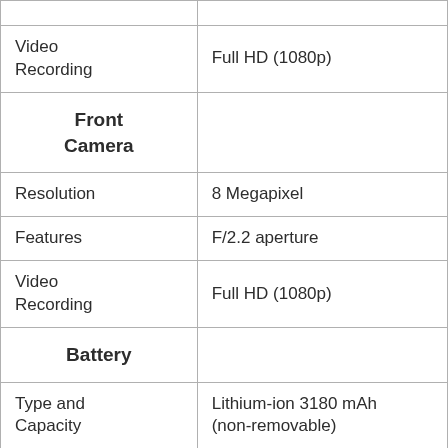| Video Recording | Full HD (1080p) |
| Front Camera |  |
| Resolution | 8 Megapixel |
| Features | F/2.2 aperture |
| Video Recording | Full HD (1080p) |
| Battery |  |
| Type and Capacity | Lithium-ion 3180 mAh (non-removable) |
| Fast Charging | ✕ |